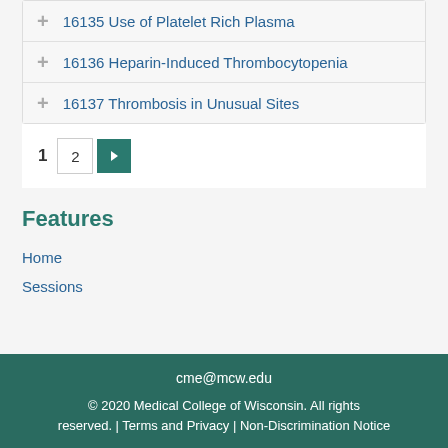16135 Use of Platelet Rich Plasma
16136 Heparin-Induced Thrombocytopenia
16137 Thrombosis in Unusual Sites
1  2  ▶
Features
Home
Sessions
cme@mcw.edu
© 2020 Medical College of Wisconsin. All rights reserved. | Terms and Privacy | Non-Discrimination Notice